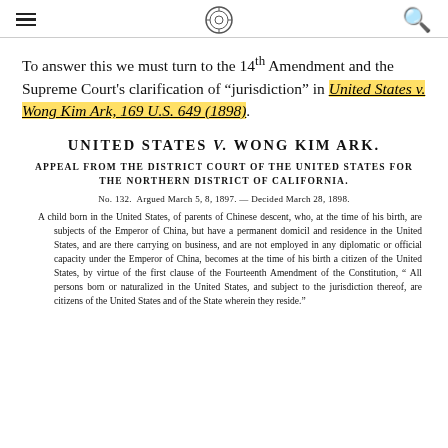≡ [seal] Q
To answer this we must turn to the 14th Amendment and the Supreme Court's clarification of "jurisdiction" in United States v. Wong Kim Ark, 169 U.S. 649 (1898).
UNITED STATES v. WONG KIM ARK.
APPEAL FROM THE DISTRICT COURT OF THE UNITED STATES FOR THE NORTHERN DISTRICT OF CALIFORNIA.
No. 132. Argued March 5, 8, 1897. — Decided March 28, 1898.
A child born in the United States, of parents of Chinese descent, who, at the time of his birth, are subjects of the Emperor of China, but have a permanent domicil and residence in the United States, and are there carrying on business, and are not employed in any diplomatic or official capacity under the Emperor of China, becomes at the time of his birth a citizen of the United States, by virtue of the first clause of the Fourteenth Amendment of the Constitution, " All persons born or naturalized in the United States, and subject to the jurisdiction thereof, are citizens of the United States and of the State wherein they reside."